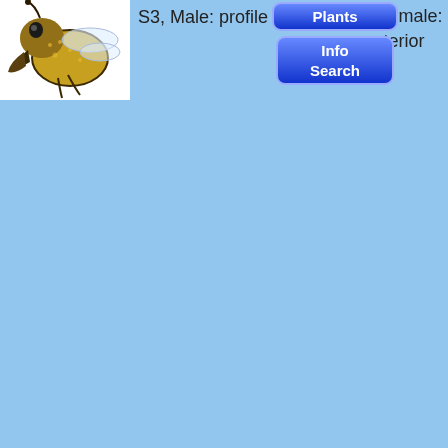[Figure (photo): Close-up photograph of a bee (likely a bumble bee or similar species), showing the head and front body with visible fur, mandibles, and compound eyes. The insect appears to be S3, Male, shown in profile view. White background.]
S3, Male: profile
S1, Female: anterior
[Figure (screenshot): Navigation buttons: Plants button (blue rounded rectangle), Info Search button (blue rounded rectangle with two lines of text)]